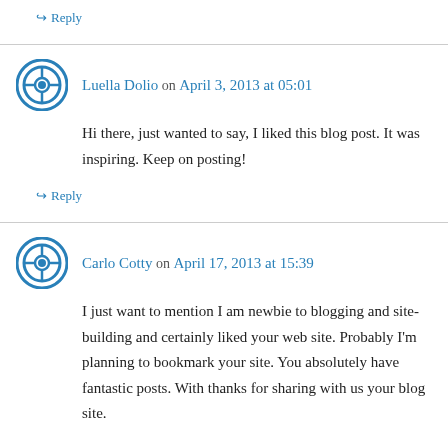↪ Reply
Luella Dolio on April 3, 2013 at 05:01
Hi there, just wanted to say, I liked this blog post. It was inspiring. Keep on posting!
↪ Reply
Carlo Cotty on April 17, 2013 at 15:39
I just want to mention I am newbie to blogging and site-building and certainly liked your web site. Probably I'm planning to bookmark your site. You absolutely have fantastic posts. With thanks for sharing with us your blog site.